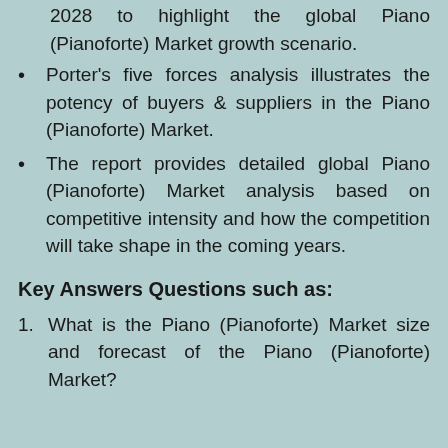2028 to highlight the global Piano (Pianoforte) Market growth scenario.
Porter's five forces analysis illustrates the potency of buyers & suppliers in the Piano (Pianoforte) Market.
The report provides detailed global Piano (Pianoforte) Market analysis based on competitive intensity and how the competition will take shape in the coming years.
Key Answers Questions such as:
What is the Piano (Pianoforte) Market size and forecast of the Piano (Pianoforte) Market?